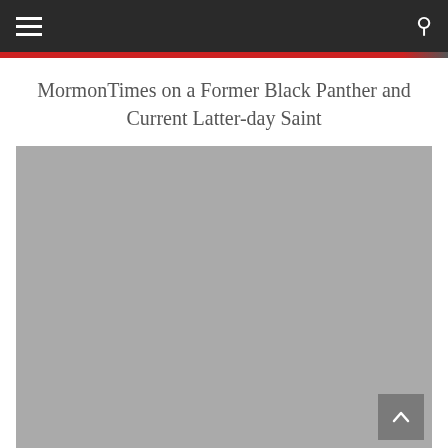Navigation bar with hamburger menu and search icon
MormonTimes on a Former Black Panther and Current Latter-day Saint
[Figure (photo): Gray placeholder image filling the main content area, with a scroll-to-top button in the bottom right corner]